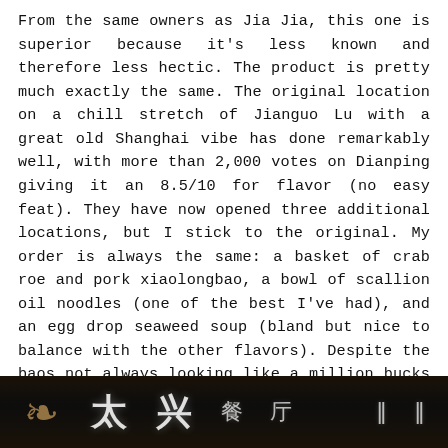From the same owners as Jia Jia, this one is superior because it's less known and therefore less hectic. The product is pretty much exactly the same. The original location on a chill stretch of Jianguo Lu with a great old Shanghai vibe has done remarkably well, with more than 2,000 votes on Dianping giving it an 8.5/10 for flavor (no easy feat). They have now opened three additional locations, but I stick to the original. My order is always the same: a basket of crab roe and pork xiaolongbao, a bowl of scallion oil noodles (one of the best I've had), and an egg drop seaweed soup (bland but nice to balance with the other flavors). Despite the baos not always looking like a million bucks (those girls in the kitchen aren't as whipped to shape as the masters at DTF), the flavor is always superlative.
[Figure (photo): Dark background with Chinese characters in white, possibly a restaurant sign or storefront. An ornamental plant or decoration is visible on the left side.]